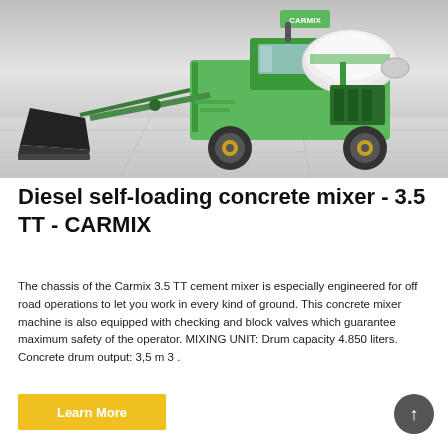[Figure (photo): Green Carmix 3.5 TT diesel self-loading concrete mixer machine on a light grey tiled floor background, showing the front loading bucket and rotating drum.]
Diesel self-loading concrete mixer - 3.5 TT - CARMIX
The chassis of the Carmix 3.5 TT cement mixer is especially engineered for off road operations to let you work in every kind of ground. This concrete mixer machine is also equipped with checking and block valves which guarantee maximum safety of the operator. MIXING UNIT: Drum capacity 4.850 liters. Concrete drum output: 3,5 m 3 .